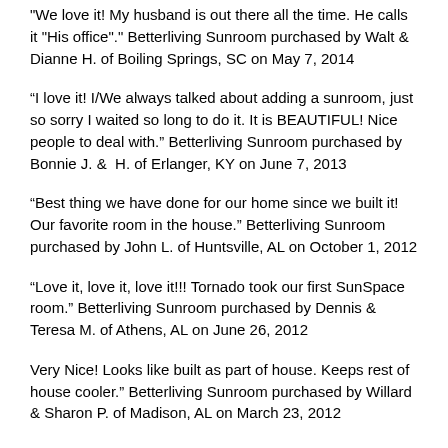"We love it! My husband is out there all the time. He calls it "His office"." Betterliving Sunroom purchased by Walt & Dianne H. of Boiling Springs, SC on May 7, 2014
“I love it! I/We always talked about adding a sunroom, just so sorry I waited so long to do it. It is BEAUTIFUL! Nice people to deal with.” Betterliving Sunroom purchased by Bonnie J. &  H. of Erlanger, KY on June 7, 2013
“Best thing we have done for our home since we built it! Our favorite room in the house.” Betterliving Sunroom purchased by John L. of Huntsville, AL on October 1, 2012
“Love it, love it, love it!!! Tornado took our first SunSpace room.” Betterliving Sunroom purchased by Dennis & Teresa M. of Athens, AL on June 26, 2012
Very Nice! Looks like built as part of house. Keeps rest of house cooler." Betterliving Sunroom purchased by Willard & Sharon P. of Madison, AL on March 23, 2012